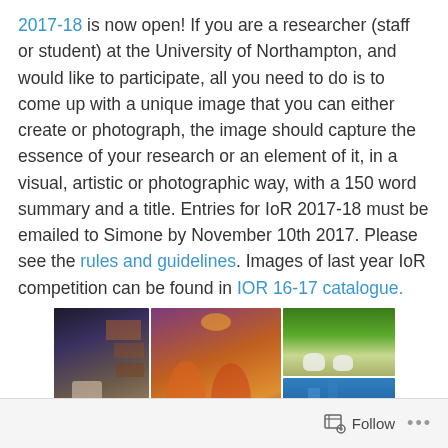2017-18 is now open! If you are a researcher (staff or student) at the University of Northampton, and would like to participate, all you need to do is to come up with a unique image that you can either create or photograph, the image should capture the essence of your research or an element of it, in a visual, artistic or photographic way, with a 150 word summary and a title. Entries for IoR 2017-18 must be emailed to Simone by November 10th 2017. Please see the rules and guidelines. Images of last year IoR competition can be found in IOR 16-17 catalogue.
[Figure (photo): Three photos arranged in a grid: left photo shows a person at an exhibit display, center photo shows colorful dancers in traditional costume on a dark stage, top-right shows sheep in a green field, bottom-right shows a blue abstract image, and a partial face photo at the bottom center.]
Follow ...